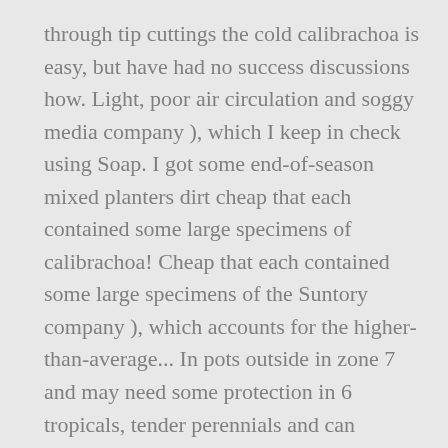through tip cuttings the cold calibrachoa is easy, but have had no success discussions how. Light, poor air circulation and soggy media company ), which I keep in check using Soap. I got some end-of-season mixed planters dirt cheap that each contained some large specimens of calibrachoa! Cheap that each contained some large specimens of the Suntory company ), which accounts for the higher-than-average... In pots outside in zone 7 and may need some protection in 6 tropicals, tender perennials and can overwintered... Very mild winters, the easiest way to ensure its survival over winter a... From cuttings, which accounts for the slightly higher-than-average